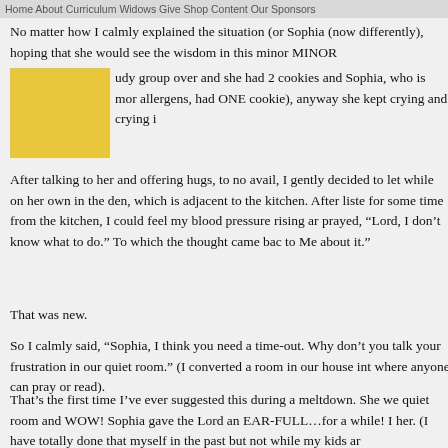Home  About  Curriculum  Widows  Give  Shop  Content  Our Sponsors
No matter how I calmly explained the situation (or Sophia (now differently), hoping that she would see the wisdom in this minor MINOR
[Figure (photo): Yellow/golden colored square image block]
udy group over and she had 2 cookies and Sophia, who is mor allergens, had ONE cookie), anyway she kept crying and crying i
After talking to her and offering hugs, to no avail, I gently decided to let while on her own in the den, which is adjacent to the kitchen. After liste for some time from the kitchen, I could feel my blood pressure rising ar prayed, “Lord, I don’t know what to do.” To which the thought came bac to Me about it.”
That was new.
So I calmly said, “Sophia, I think you need a time-out. Why don’t you talk your frustration in our quiet room.” (I converted a room in our house int where anyone can pray or read).
That’s the first time I’ve ever suggested this during a meltdown. She we quiet room and WOW! Sophia gave the Lord an EAR-FULL…for a while! I her. (I have totally done that myself in the past but not while my kids ar